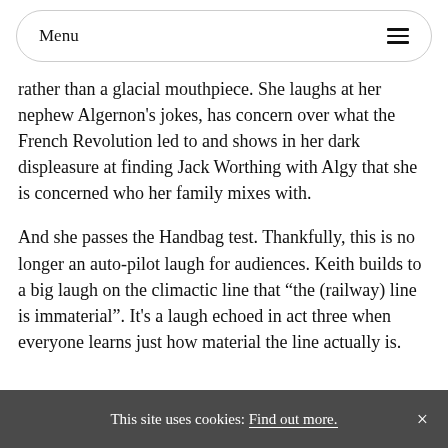Menu
rather than a glacial mouthpiece. She laughs at her nephew Algernon’s jokes, has concern over what the French Revolution led to and shows in her dark displeasure at finding Jack Worthing with Algy that she is concerned who her family mixes with.
And she passes the Handbag test. Thankfully, this is no longer an auto-pilot laugh for audiences. Keith builds to a big laugh on the climactic line that “the (railway) line is immaterial”. It’s a laugh echoed in act three when everyone learns just how material the line actually is.
This site uses cookies: Find out more.